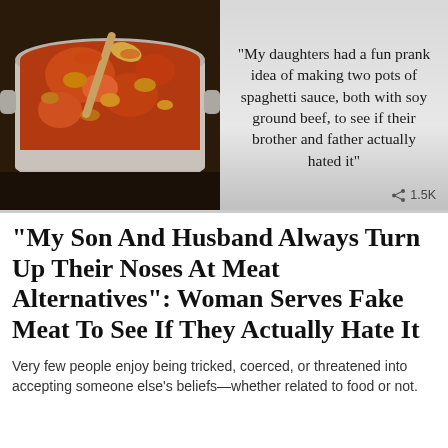[Figure (photo): A pot of spaghetti meat sauce bubbling on a stove, with a wooden spoon, seen from above and slightly to the side.]
“My daughters had a fun prank idea of making two pots of spaghetti sauce, both with soy ground beef, to see if their brother and father actually hated it”  ‹ 1.5K
“My Son And Husband Always Turn Up Their Noses At Meat Alternatives”: Woman Serves Fake Meat To See If They Actually Hate It
Very few people enjoy being tricked, coerced, or threatened into accepting someone else’s beliefs—whether related to food or not.